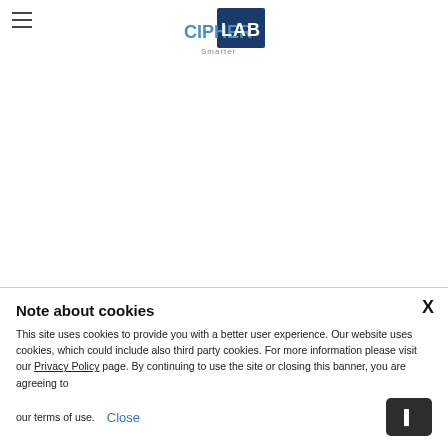[Figure (logo): CipherLab Smarter logo — white text CIPHER on blue background, dark blue LAB in a square, 'Smarter' below in gray]
Note about cookies
This site uses cookies to provide you with a better user experience. Our website uses cookies, which could include also third party cookies. For more information please visit our Privacy Policy page. By continuing to use the site or closing this banner, you are agreeing to our terms of use.
Close